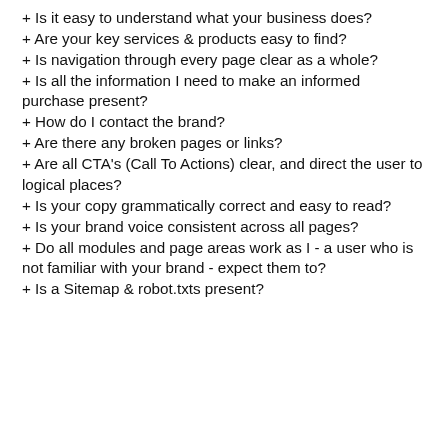+ Is it easy to understand what your business does?
+ Are your key services & products easy to find?
+ Is navigation through every page clear as a whole?
+ Is all the information I need to make an informed purchase present?
+ How do I contact the brand?
+ Are there any broken pages or links?
+ Are all CTA's (Call To Actions) clear, and direct the user to logical places?
+ Is your copy grammatically correct and easy to read?
+ Is your brand voice consistent across all pages?
+ Do all modules and page areas work as I - a user who is not familiar with your brand - expect them to?
+ Is a Sitemap & robot.txts present?